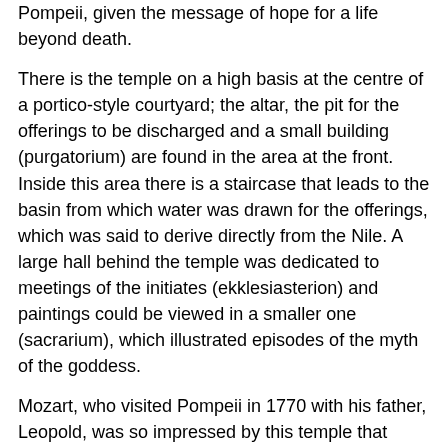Pompeii, given the message of hope for a life beyond death.
There is the temple on a high basis at the centre of a portico-style courtyard; the altar, the pit for the offerings to be discharged and a small building (purgatorium) are found in the area at the front. Inside this area there is a staircase that leads to the basin from which water was drawn for the offerings, which was said to derive directly from the Nile. A large hall behind the temple was dedicated to meetings of the initiates (ekklesiasterion) and paintings could be viewed in a smaller one (sacrarium), which illustrated episodes of the myth of the goddess.
Mozart, who visited Pompeii in 1770 with his father, Leopold, was so impressed by this temple that inspired the scenes of the first performance of the "Magic Flute" in Vienna in 1791. All the furnishings and statues are on display at the National